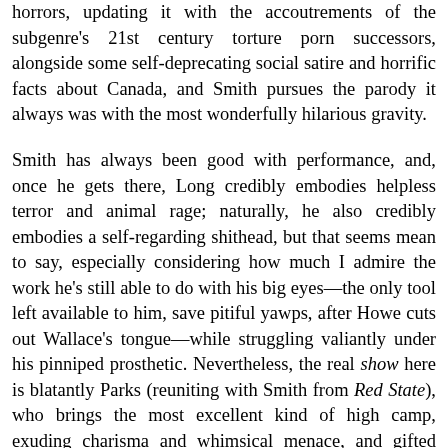horrors, updating it with the accoutrements of the subgenre's 21st century torture porn successors, alongside some self-deprecating social satire and horrific facts about Canada, and Smith pursues the parody it always was with the most wonderfully hilarious gravity.
Smith has always been good with performance, and, once he gets there, Long credibly embodies helpless terror and animal rage; naturally, he also credibly embodies a self-regarding shithead, but that seems mean to say, especially considering how much I admire the work he's still able to do with his big eyes—the only tool left available to him, save pitiful yawps, after Howe cuts out Wallace's tongue—while struggling valiantly under his pinniped prosthetic. Nevertheless, the real show here is blatantly Parks (reuniting with Smith from Red State), who brings the most excellent kind of high camp, exuding charisma and whimsical menace, and gifted with something like a dozen perfectly insane monologues about the nature of man and walrus that never cease to be a joy to witness.  There's a cognizable argument to be made, too, that Tusk is Smith's handsomest film, though this argument tends to be made by people who think the cutting and blocking of a successful comedy just